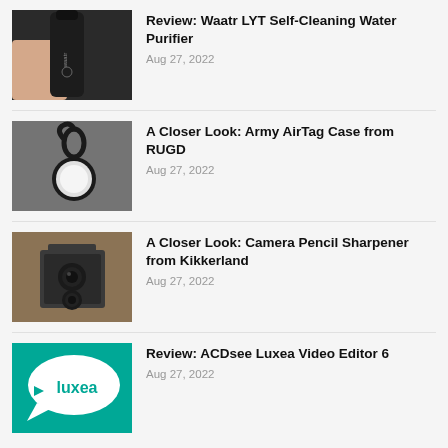[Figure (photo): Hand holding a dark cylindrical Waatr branded water purifier bottle]
Review: Waatr LYT Self-Cleaning Water Purifier
Aug 27, 2022
[Figure (photo): Black Army AirTag case with keychain clip on grey fabric background]
A Closer Look: Army AirTag Case from RUGD
Aug 27, 2022
[Figure (photo): Vintage-style camera pencil sharpener from Kikkerland on wooden surface]
A Closer Look: Camera Pencil Sharpener from Kikkerland
Aug 27, 2022
[Figure (logo): ACDsee Luxea Video Editor 6 logo — teal background with white speech bubble containing 'luxea' text and play button]
Review: ACDsee Luxea Video Editor 6
Aug 27, 2022